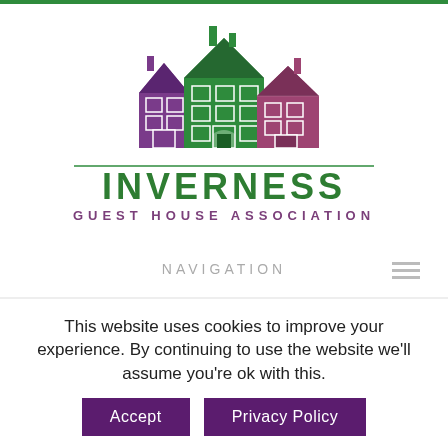[Figure (logo): Inverness Guest House Association logo: three illustrated house buildings in purple, green, and mauve colors above the text INVERNESS GUEST HOUSE ASSOCIATION]
NAVIGATION
Mad Hatter
This website uses cookies to improve your experience. By continuing to use the website we'll assume you're ok with this.
Accept
Privacy Policy